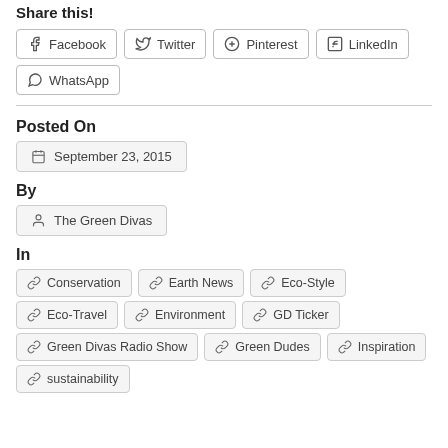Share this!
Facebook
Twitter
Pinterest
LinkedIn
WhatsApp
Posted On
September 23, 2015
By
The Green Divas
In
Conservation
Earth News
Eco-Style
Eco-Travel
Environment
GD Ticker
Green Divas Radio Show
Green Dudes
Inspiration
sustainability